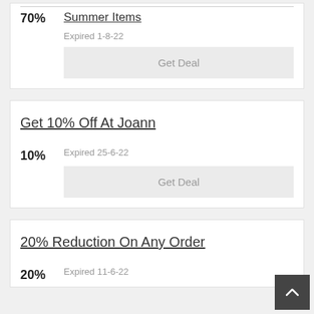Summer Items
70%
Expired 1-8-22
Get Deal
Get 10% Off At Joann
10%
Expired 25-6-22
Get Deal
20% Reduction On Any Order
20%
Expired 11-6-22